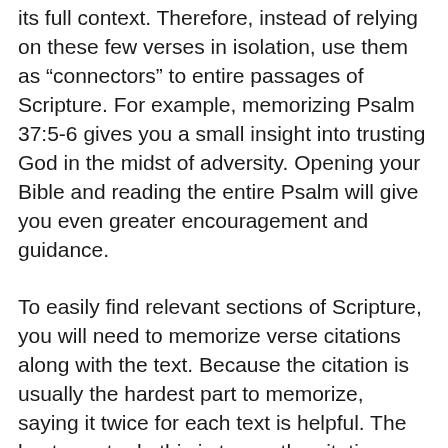its full context. Therefore, instead of relying on these few verses in isolation, use them as “connectors” to entire passages of Scripture. For example, memorizing Psalm 37:5-6 gives you a small insight into trusting God in the midst of adversity. Opening your Bible and reading the entire Psalm will give you even greater encouragement and guidance.
To easily find relevant sections of Scripture, you will need to memorize verse citations along with the text. Because the citation is usually the hardest part to memorize, saying it twice for each text is helpful. The best way to do this is to say the citation (e.g., “Matthew 5:16”) both before and after the verse each time you read it.